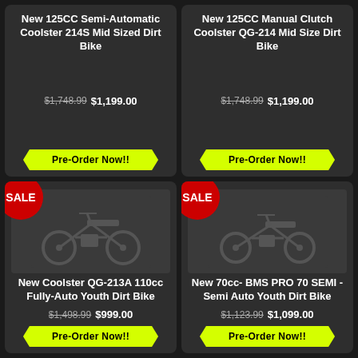New 125CC Semi-Automatic Coolster 214S Mid Sized Dirt Bike
$1,748.99 $1,199.00
Pre-Order Now!!
New 125CC Manual Clutch Coolster QG-214 Mid Size Dirt Bike
$1,748.99 $1,199.00
Pre-Order Now!!
[Figure (photo): Dirt bike product photo with SALE badge, left bottom card]
New Coolster QG-213A 110cc Fully-Auto Youth Dirt Bike
$1,498.99 $999.00
Pre-Order Now!!
[Figure (photo): Dirt bike product photo with SALE badge, right bottom card]
New 70cc- BMS PRO 70 SEMI - Semi Auto Youth Dirt Bike
$1,123.99 $1,099.00
Pre-Order Now!!